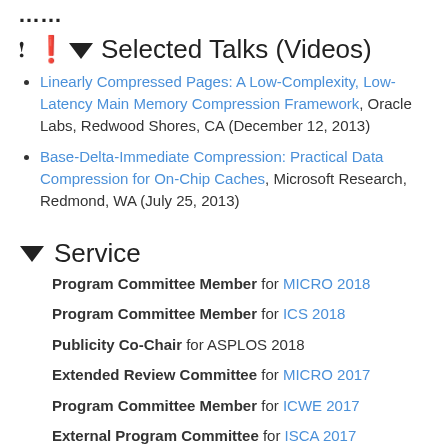Selected Talks (Videos)
Linearly Compressed Pages: A Low-Complexity, Low-Latency Main Memory Compression Framework, Oracle Labs, Redwood Shores, CA (December 12, 2013)
Base-Delta-Immediate Compression: Practical Data Compression for On-Chip Caches, Microsoft Research, Redmond, WA (July 25, 2013)
Service
Program Committee Member for MICRO 2018
Program Committee Member for ICS 2018
Publicity Co-Chair for ASPLOS 2018
Extended Review Committee for MICRO 2017
Program Committee Member for ICWE 2017
External Program Committee for ISCA 2017